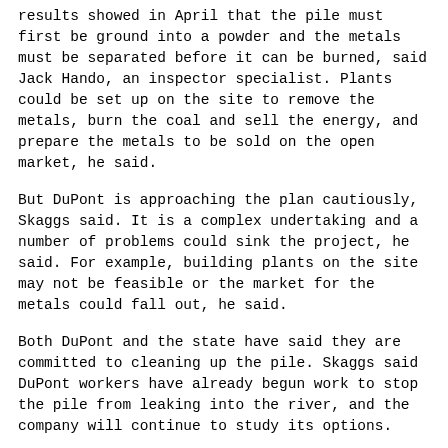results showed in April that the pile must first be ground into a powder and the metals must be separated before it can be burned, said Jack Hando, an inspector specialist. Plants could be set up on the site to remove the metals, burn the coal and sell the energy, and prepare the metals to be sold on the open market, he said.
But DuPont is approaching the plan cautiously, Skaggs said. It is a complex undertaking and a number of problems could sink the project, he said. For example, building plants on the site may not be feasible or the market for the metals could fall out, he said.
Both DuPont and the state have said they are committed to cleaning up the pile. Skaggs said DuPont workers have already begun work to stop the pile from leaking into the river, and the company will continue to study its options.
"We're absolutely committed to moving as